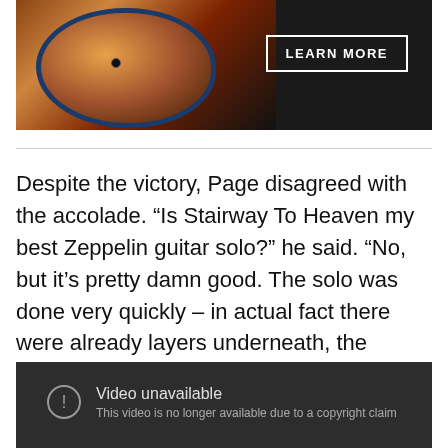[Figure (photo): Advertisement image showing a guitar (sunburst finish) on a dark background with a 'LEARN MORE' button overlay]
Despite the victory, Page disagreed with the accolade. “Is Stairway To Heaven my best Zeppelin guitar solo?” he said. “No, but it’s pretty damn good. The solo was done very quickly – in actual fact there were already layers underneath, the bottleneck you can hear was on before the solo.
[Figure (screenshot): YouTube video embed showing 'Video unavailable' error message with text 'This video is no longer available due to a copyright claim']